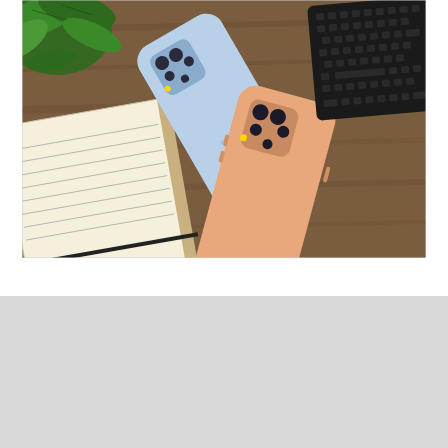[Figure (photo): Two Samsung smartphones (one light blue, one peach/orange) laid on a wooden desk surface alongside a green plant, a lined notepad, and a black keyboard, photographed from above.]
Top Categories